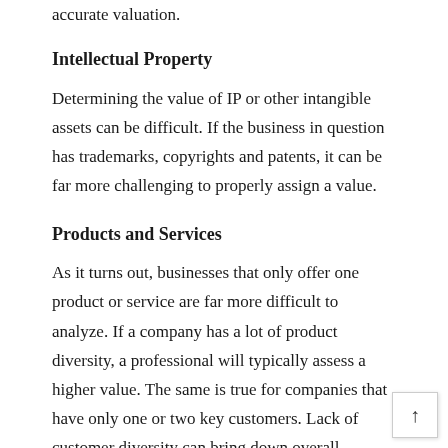accurate valuation.
Intellectual Property
Determining the value of IP or other intangible assets can be difficult. If the business in question has trademarks, copyrights and patents, it can be far more challenging to properly assign a value.
Products and Services
As it turns out, businesses that only offer one product or service are far more difficult to analyze. If a company has a lot of product diversity, a professional will typically assess a higher value. The same is true for companies that have only one or two key customers. Lack of customer diversity can bring down overall